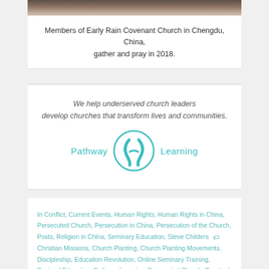[Figure (photo): Bottom edge of a photo showing members of Early Rain Covenant Church in Chengdu, China, gathering and praying in 2018.]
Members of Early Rain Covenant Church in Chengdu, China, gather and pray in 2018.
We help underserved church leaders develop churches that transform lives and communities.
[Figure (logo): Pathway Learning logo with teal circular emblem containing two figure-like shapes, with 'Pathway' on the left and 'Learning' on the right in teal text.]
In Conflict, Current Events, Human Rights, Human Rights in China, Persecuted Church, Persecution in China, Persecution of the Church, Posts, Religion in China, Seminary Education, Steve Childers  🏷 Christian Missions, Church Planting, Church Planting Movements, Discipleship, Education Revolution, Online Seminary Training, Pastoral Education, Pathway Learning, Persecuted Church, Practical Theology, Reformed Theology